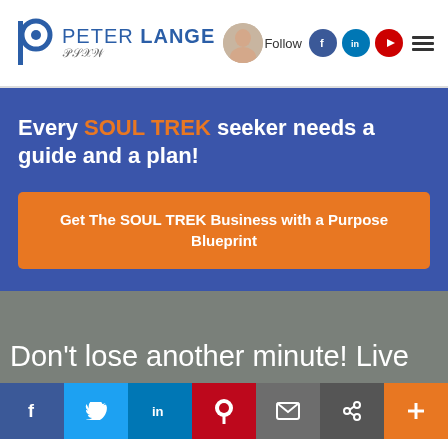Peter Lange — website header with logo, avatar, signature, Follow label, Facebook/LinkedIn/YouTube icons, and hamburger menu
Every SOUL TREK seeker needs a guide and a plan!
Get The SOUL TREK Business with a Purpose Blueprint
Don't lose another minute! Live
Social share bar: Facebook, Twitter, LinkedIn, Pinterest, Email, Link, Plus